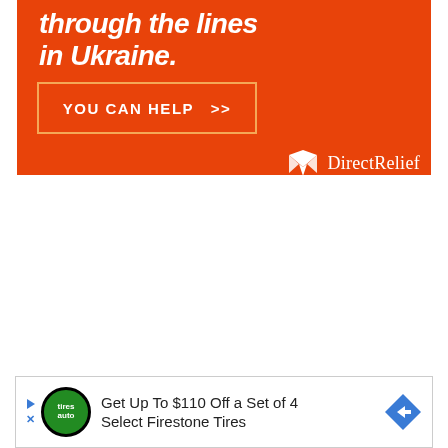[Figure (illustration): Orange Direct Relief advertisement banner. Top portion shows bold white italic text 'through the lines in Ukraine.' with a bordered button reading 'YOU CAN HELP >>' and the Direct Relief logo (white icon and text) in the bottom right of the banner.]
Get Up To $110 Off a Set of 4 Select Firestone Tires